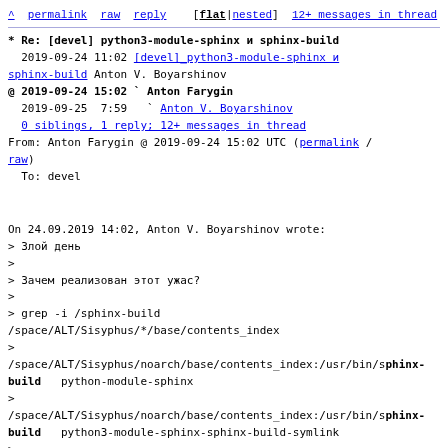^ permalink raw reply [flat|nested] 12+ messages in thread
* Re: [devel] python3-module-sphinx и sphinx-build
2019-09-24 11:02 [devel]_python3-module-sphinx и sphinx-build Anton V. Boyarshinov
@ 2019-09-24 15:02 ` Anton Farygin
  2019-09-25  7:59   ` Anton V. Boyarshinov
  0 siblings, 1 reply; 12+ messages in thread
From: Anton Farygin @ 2019-09-24 15:02 UTC (permalink / raw)
  To: devel

On 24.09.2019 14:02, Anton V. Boyarshinov wrote:
> Злой день
>
> Зачем реализован этот ужас?
>
> grep -i /sphinx-build /space/ALT/Sisyphus/*/base/contents_index
>
/space/ALT/Sisyphus/noarch/base/contents_index:/usr/bin/sphinx-build	build   python-module-sphinx
>
/space/ALT/Sisyphus/noarch/base/contents_index:/usr/bin/sphinx-build	build   python3-module-sphinx-sphinx-build-symlink
>
/space/ALT/Sisyphus/noarch/base/contents_index:/usr/bin/s